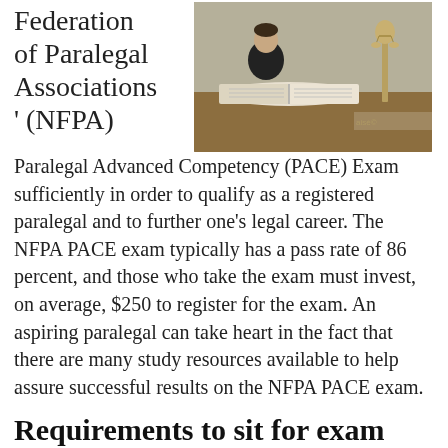Federation of Paralegal Associations ' (NFPA)
[Figure (photo): A paralegal or lawyer sitting at a desk with open books, with a Lady Justice statue visible in the background.]
Paralegal Advanced Competency (PACE) Exam sufficiently in order to qualify as a registered paralegal and to further one's legal career. The NFPA PACE exam typically has a pass rate of 86 percent, and those who take the exam must invest, on average, $250 to register for the exam. An aspiring paralegal can take heart in the fact that there are many study resources available to help assure successful results on the NFPA PACE exam.
Requirements to sit for exam
Certain requirements must be met before a paralegal student is eligible to sit for the PACE exam. Both academic and work requirements are involved in